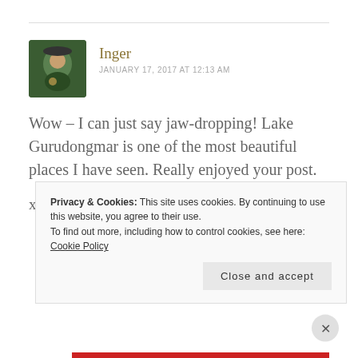Inger
JANUARY 17, 2017 AT 12:13 AM
Wow – I can just say jaw-dropping! Lake Gurudongmar is one of the most beautiful places I have seen. Really enjoyed your post.

xoxo Inger
Privacy & Cookies: This site uses cookies. By continuing to use this website, you agree to their use.
To find out more, including how to control cookies, see here:
Cookie Policy
Close and accept